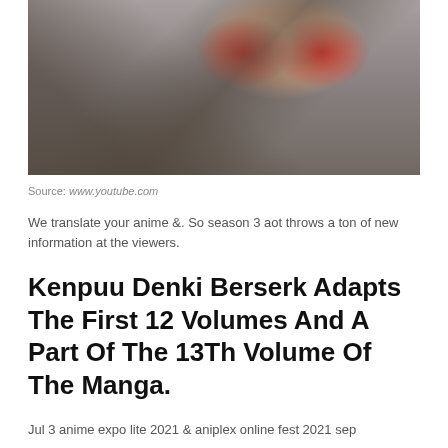[Figure (illustration): Anime character close-up with red/pink eyes, wearing dark spiky armor, with horns visible at the top. Dark moody background.]
Source: www.youtube.com
We translate your anime &. So season 3 aot throws a ton of new information at the viewers.
Kenpuu Denki Berserk Adapts The First 12 Volumes And A Part Of The 13Th Volume Of The Manga.
Jul 3 anime expo lite 2021 & aniplex online fest 2021 sep